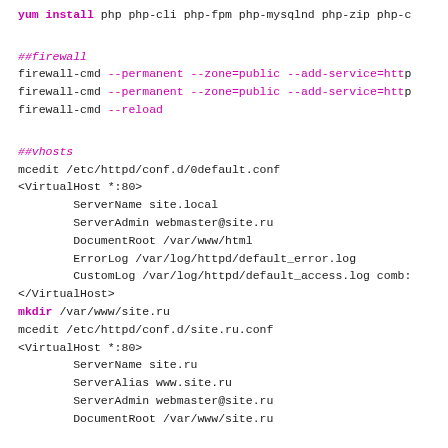yum install php php-cli php-fpm php-mysqlnd php-zip php-...
##firewall
firewall-cmd --permanent --zone=public --add-service=http...
firewall-cmd --permanent --zone=public --add-service=http...
firewall-cmd --reload
##vhosts
mcedit /etc/httpd/conf.d/0default.conf
<VirtualHost *:80>
        ServerName site.local
        ServerAdmin webmaster@site.ru
        DocumentRoot /var/www/html
        ErrorLog /var/log/httpd/default_error.log
        CustomLog /var/log/httpd/default_access.log comb...
</VirtualHost>
mkdir /var/www/site.ru
mcedit /etc/httpd/conf.d/site.ru.conf
<VirtualHost *:80>
        ServerName site.ru
        ServerAlias www.site.ru
        ServerAdmin webmaster@site.ru
        DocumentRoot /var/www/site.ru